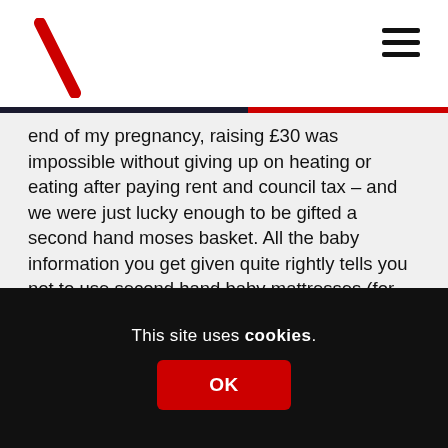end of my pregnancy, raising £30 was impossible without giving up on heating or eating after paying rent and council tax – and we were just lucky enough to be gifted a second hand moses basket. All the baby information you get given quite rightly tells you not to use second hand baby mattresses (for moses baskets, or cribs, or cots), but what choice did we have?
Labour commented that not including breast feeding information in the baby boxes was 'a missed opportunity' but I disagree for two reasons:
This site uses cookies.
OK